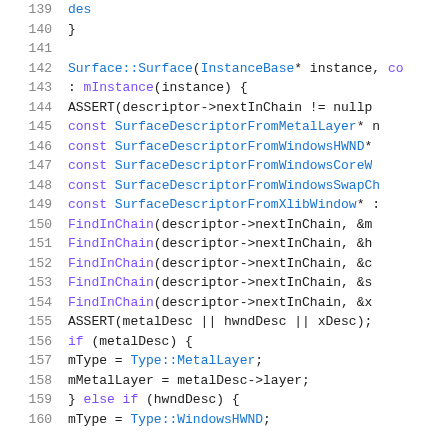Source code listing lines 139-160, C++ code for Surface constructor
[Figure (screenshot): C++ source code snippet showing Surface::Surface constructor implementation with lines 139-160]